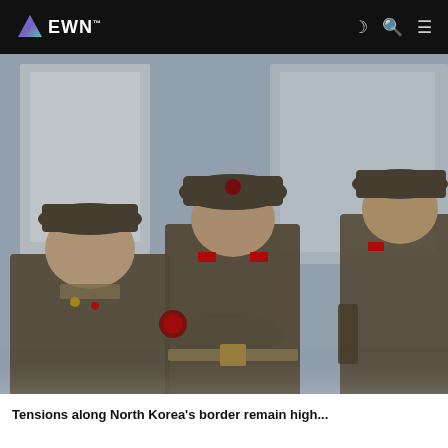EWN
[Figure (photo): Three North Korean soldiers in olive-brown military uniforms and peaked caps standing in front of a pale blue wall, viewed from a lower angle. The central figure faces the camera directly.]
Tensions along North Korea's border remain high...